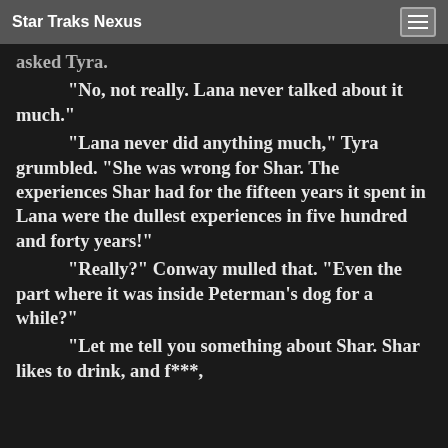Star Traks Nexus
asked Tyra.
“No, not really. Lana never talked about it much.”
“Lana never did anything much,” Tyra grumbled. “She was wrong for Shar. The experiences Shar had for the fifteen years it spent in Lana were the dullest experiences in five hundred and forty years!”
“Really?” Conway mulled that. “Even the part where it was inside Peterman’s dog for a while?”
“Let me tell you something about Shar. Shar likes to drink, and f***,